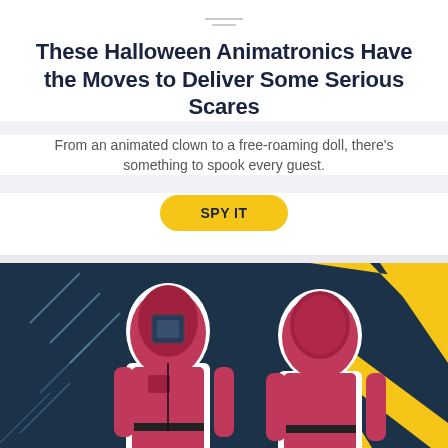These Halloween Animatronics Have the Moves to Deliver Some Serious Scares
From an animated clown to a free-roaming doll, there's something to spook every guest.
SPY IT
[Figure (photo): Two figures wearing pink/red hooded jumpsuits with black belts, one facing front with a square mask on face, one facing back, against a dark navy and yellow geometric background resembling Squid Game costumes.]